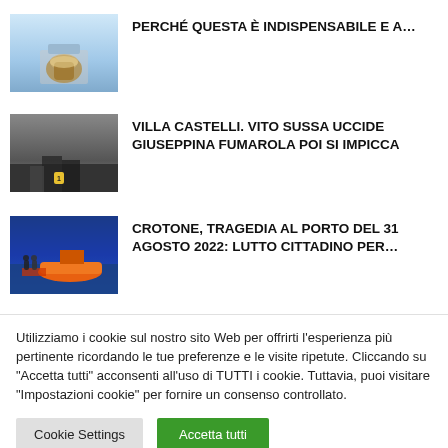[Figure (photo): Glass with liquid on a surface, blurred background]
PERCHÉ QUESTA È INDISPENSABILE E A...
[Figure (photo): Crime scene photo with numbered marker and person's feet]
VILLA CASTELLI. VITO SUSSA UCCIDE GIUSEPPINA FUMAROLA POI SI IMPICCA
[Figure (photo): Orange rescue boat at a port with firefighters]
CROTONE, TRAGEDIA AL PORTO DEL 31 AGOSTO 2022: LUTTO CITTADINO PER...
Utilizziamo i cookie sul nostro sito Web per offrirti l'esperienza più pertinente ricordando le tue preferenze e le visite ripetute. Cliccando su "Accetta tutti" acconsenti all'uso di TUTTI i cookie. Tuttavia, puoi visitare "Impostazioni cookie" per fornire un consenso controllato.
Cookie Settings | Accetta tutti